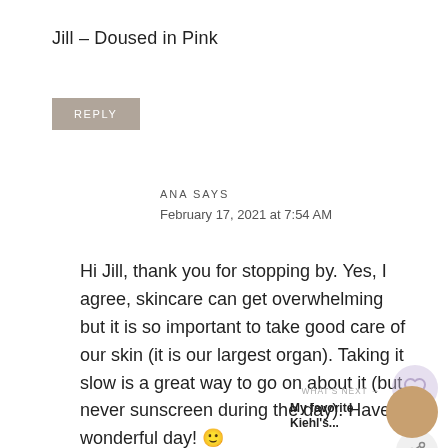Jill – Doused in Pink
REPLY
ANA SAYS
February 17, 2021 at 7:54 AM
Hi Jill, thank you for stopping by. Yes, I agree, skincare can get overwhelming but it is so important to take good care of our skin (it is our largest organ). Taking it slow is a great way to go on about it (but never sunscreen during the day). Have a wonderful day! 🙂